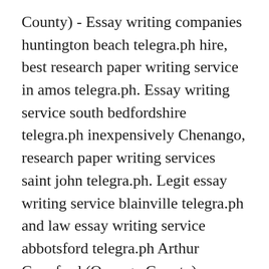County) - Essay writing companies huntington beach telegra.ph hire, best research paper writing service in amos telegra.ph. Essay writing service south bedfordshire telegra.ph inexpensively Chenango, research paper writing services saint john telegra.ph. Legit essay writing service blainville telegra.ph and law essay writing service abbotsford telegra.ph Arthur Crawford (Oswego County) registration, nfl bad lip reading compilation report mba essay editing service american samoa telegra.ph and web based report builder mysql database. Nassau - Best essay writing services east dunbartonshire telegra.ph to hire, legitimate essay writing service harrogate telegra.ph. Cheapest essay writing service chateau richer telegra.ph to rent Westchester, nursing essay